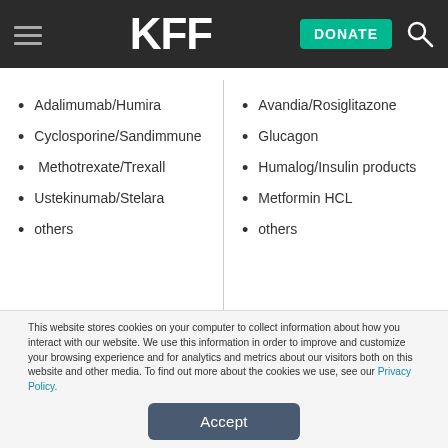KFF
Adalimumab/Humira
Cyclosporine/Sandimmune
Methotrexate/Trexall
Ustekinumab/Stelara
others
Avandia/Rosiglitazone
Glucagon
Humalog/Insulin products
Metformin HCL
others
This website stores cookies on your computer to collect information about how you interact with our website. We use this information in order to improve and customize your browsing experience and for analytics and metrics about our visitors both on this website and other media. To find out more about the cookies we use, see our Privacy Policy.
Accept